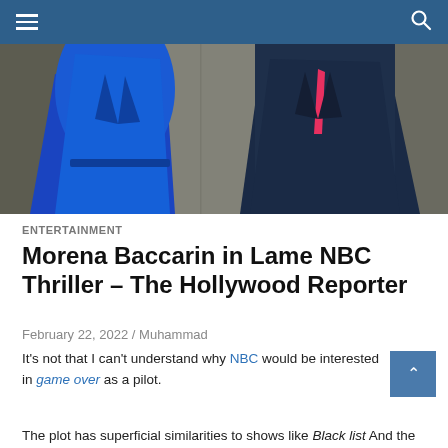Navigation bar with hamburger menu and search icon
[Figure (photo): Two people standing against a concrete wall background. Person on left wearing a vivid blue suit jacket, person on right wearing a dark navy suit with a pink/red tie detail.]
ENTERTAINMENT
Morena Baccarin in Lame NBC Thriller – The Hollywood Reporter
February 22, 2022 / Muhammad
It's not that I can't understand why NBC would be interested in game over as a pilot.
The plot has superficial similarities to shows like Black list And the blind spot, which has been a staple of the NBC schedule for years, star Morena Baccarin.He is an Emmy